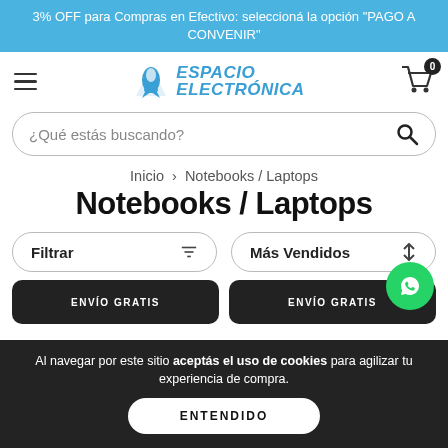3% OFF para Compras en Efectivo: seleccioná la opción "PAGO A CONVENIR"
[Figure (logo): Espacio Electronica logo with rocket icon and text in blue italic bold font]
¿Qué estás buscando?
Inicio > Notebooks / Laptops
Notebooks / Laptops
Filtrar
Más Vendidos
Al navegar por este sitio aceptás el uso de cookies para agilizar tu experiencia de compra.
ENTENDIDO